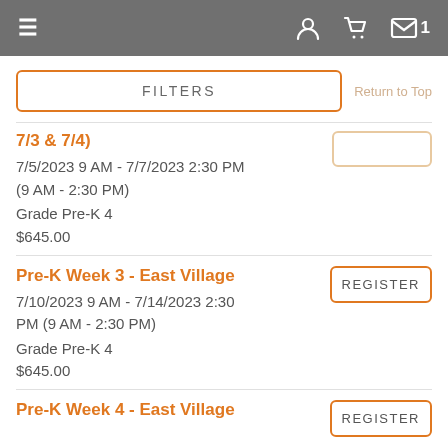Navigation bar with menu, user, cart, and message icons
FILTERS
Return to Top
7/3 & 7/4)
7/5/2023 9 AM - 7/7/2023 2:30 PM (9 AM - 2:30 PM)
Grade Pre-K 4
$645.00
Pre-K Week 3 - East Village
7/10/2023 9 AM - 7/14/2023 2:30 PM (9 AM - 2:30 PM)
Grade Pre-K 4
$645.00
REGISTER
Pre-K Week 4 - East Village
REGISTER